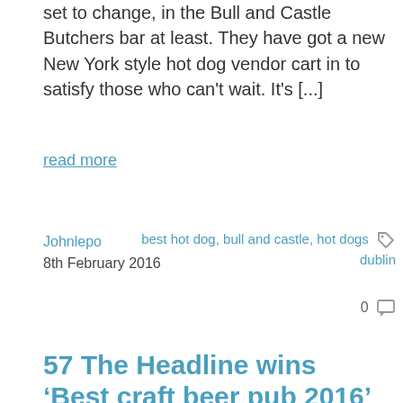set to change, in the Bull and Castle Butchers bar at least. They have got a new New York style hot dog vendor cart in to satisfy those who can't wait. It's [...]
read more
Johnlepo
8th February 2016
best hot dog, bull and castle, hot dogs dublin
0
57 The Headline wins ‘Best craft beer pub 2016’ award
57 The Headline earned a big prize at the recent Alltech craft brews and food fair by being named ‘Best craft beer pub 2016’. They received the award after winning a public vote. There are quite a few awards shows in